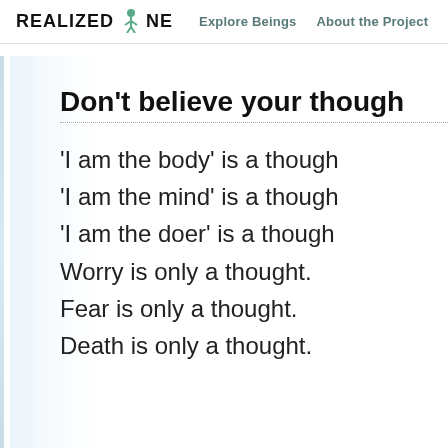REALIZED ONE   Explore Beings   About the Project
Don't believe your thoughts
'I am the body' is a thought.
'I am the mind' is a thought.
'I am the doer' is a thought.
Worry is only a thought.
Fear is only a thought.
Death is only a thought.